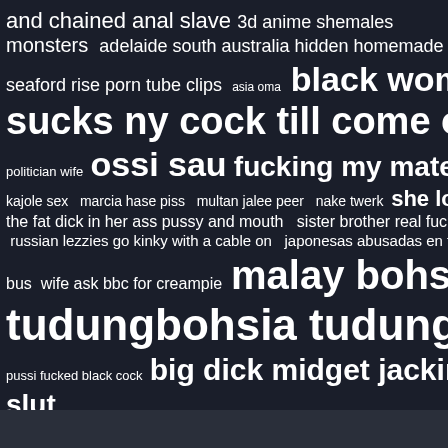[Figure (other): A tag cloud / search term word cloud displayed on a dark navy background. Various adult search terms appear in different font sizes indicating frequency/popularity. Terms range from small to very large text, all white on dark background. Includes a close button (X) overlay.]